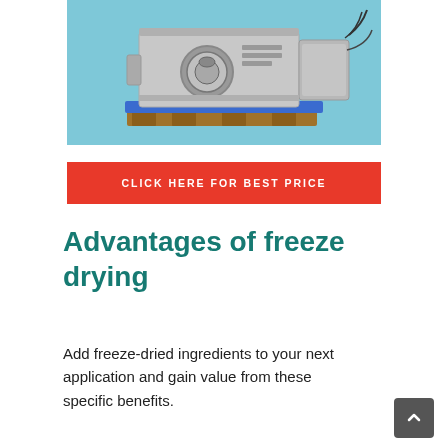[Figure (photo): A stainless steel freeze-drying machine sitting on a wooden pallet on a blue floor, with cables attached.]
CLICK HERE FOR BEST PRICE
Advantages of freeze drying
Add freeze-dried ingredients to your next application and gain value from these specific benefits.